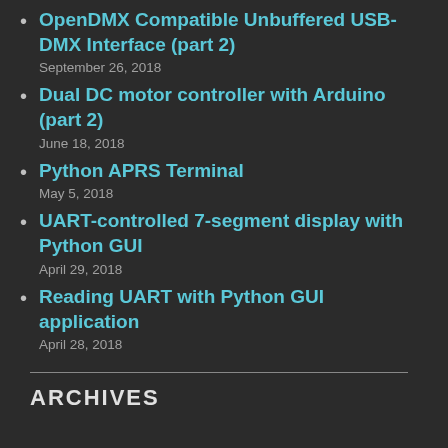OpenDMX Compatible Unbuffered USB-DMX Interface (part 2)
September 26, 2018
Dual DC motor controller with Arduino (part 2)
June 18, 2018
Python APRS Terminal
May 5, 2018
UART-controlled 7-segment display with Python GUI
April 29, 2018
Reading UART with Python GUI application
April 28, 2018
ARCHIVES